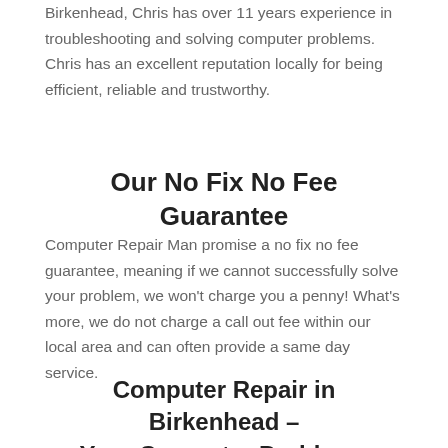Birkenhead, Chris has over 11 years experience in troubleshooting and solving computer problems. Chris has an excellent reputation locally for being efficient, reliable and trustworthy.
Our No Fix No Fee Guarantee
Computer Repair Man promise a no fix no fee guarantee, meaning if we cannot successfully solve your problem, we won't charge you a penny!  What's more, we do not charge a call out fee within our local area and can often provide a same day service.
Computer Repair in Birkenhead – Your Computer Problems Solved
Get in touch today and see how we can help you